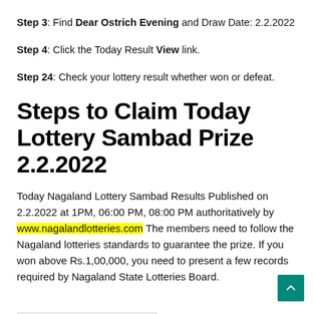Step 3: Find Dear Ostrich Evening and Draw Date: 2.2.2022
Step 4: Click the Today Result View link.
Step 24: Check your lottery result whether won or defeat.
Steps to Claim Today Lottery Sambad Prize 2.2.2022
Today Nagaland Lottery Sambad Results Published on 2.2.2022 at 1PM, 06:00 PM, 08:00 PM authoritatively by www.nagalandlotteries.com The members need to follow the Nagaland lotteries standards to guarantee the prize. If you won above Rs.1,00,000, you need to present a few records required by Nagaland State Lotteries Board.